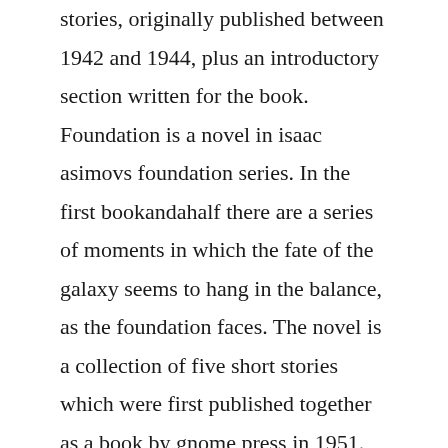stories, originally published between 1942 and 1944, plus an introductory section written for the book. Foundation is a novel in isaac asimovs foundation series. In the first bookandahalf there are a series of moments in which the fate of the galaxy seems to hang in the balance, as the foundation faces. The novel is a collection of five short stories which were first published together as a book by gnome press in 1951. Isaac asimovs foundation trilogy skulls in the stars.
This copy of the first book in the second foundation trilogy follows the rigid but...